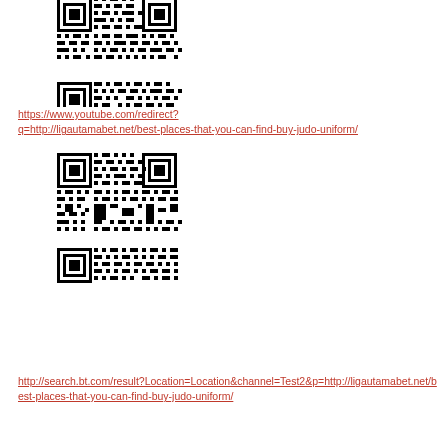[Figure (other): QR code (partially visible at top) linking to YouTube redirect URL for ligautamabet.net best-places-that-you-can-find-buy-judo-uniform]
https://www.youtube.com/redirect?q=http://ligautamabet.net/best-places-that-you-can-find-buy-judo-uniform/
[Figure (other): QR code linking to search.bt.com result URL for ligautamabet.net best-places-that-you-can-find-buy-judo-uniform]
http://search.bt.com/result?Location=Location&channel=Test2&p=http://ligautamabet.net/best-places-that-you-can-find-buy-judo-uniform/
[Figure (other): QR code linking to msn.com es-us dinero search URL for ligautamabet.net best-places-that]
http://www.msn.com/es-us/dinero/search?q=http://ligautamabet.net/best-places-that-